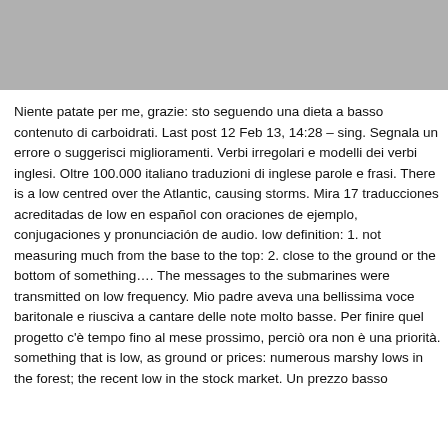[Figure (other): Gray bar at top of page]
Niente patate per me, grazie: sto seguendo una dieta a basso contenuto di carboidrati. Last post 12 Feb 13, 14:28 – sing. Segnala un errore o suggerisci miglioramenti. Verbi irregolari e modelli dei verbi inglesi. Oltre 100.000 italiano traduzioni di inglese parole e frasi. There is a low centred over the Atlantic, causing storms. Mira 17 traducciones acreditadas de low en español con oraciones de ejemplo, conjugaciones y pronunciación de audio. low definition: 1. not measuring much from the base to the top: 2. close to the ground or the bottom of something.... The messages to the submarines were transmitted on low frequency. Mio padre aveva una bellissima voce baritonale e riusciva a cantare delle note molto basse. Per finire quel progetto c'è tempo fino al mese prossimo, perciò ora non è una priorità. something that is low, as ground or prices: numerous marshy lows in the forest; the recent low in the stock market. Un prezzo basso...